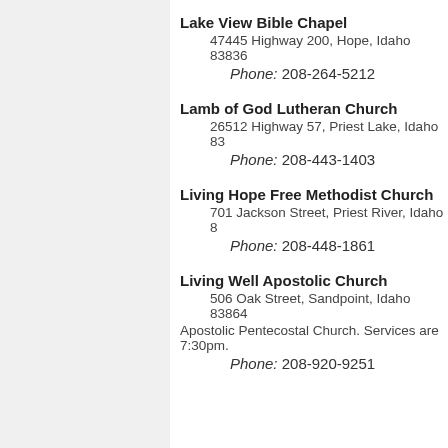Lake View Bible Chapel
47445 Highway 200, Hope, Idaho 83836
Phone: 208-264-5212
Lamb of God Lutheran Church
26512 Highway 57, Priest Lake, Idaho 83
Phone: 208-443-1403
Living Hope Free Methodist Church
701 Jackson Street, Priest River, Idaho 8
Phone: 208-448-1861
Living Well Apostolic Church
506 Oak Street, Sandpoint, Idaho 83864
Apostolic Pentecostal Church. Services are 7:30pm.
Phone: 208-920-9251